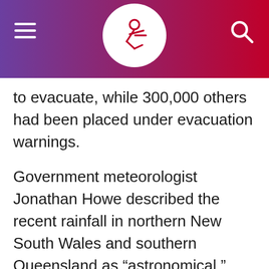[Navigation header with logo]
to evacuate, while 300,000 others had been placed under evacuation warnings.
Government meteorologist Jonathan Howe described the recent rainfall in northern New South Wales and southern Queensland as “astronomical.”
Nine of the 10 deaths reported so far were in Queensland. A 76-year-old man who disappeared with his vehicle in floodwaters northwest of Brisbane on Sunday has since been confirmed dead.